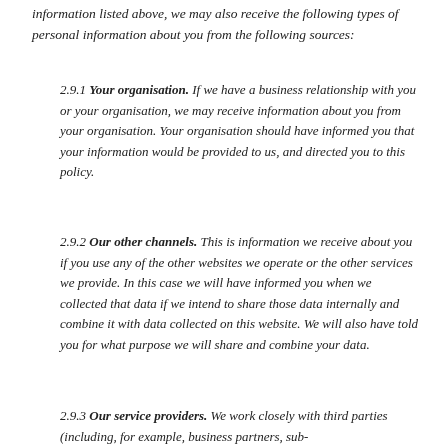information listed above, we may also receive the following types of personal information about you from the following sources:
2.9.1 Your organisation. If we have a business relationship with you or your organisation, we may receive information about you from your organisation. Your organisation should have informed you that your information would be provided to us, and directed you to this policy.
2.9.2 Our other channels. This is information we receive about you if you use any of the other websites we operate or the other services we provide. In this case we will have informed you when we collected that data if we intend to share those data internally and combine it with data collected on this website. We will also have told you for what purpose we will share and combine your data.
2.9.3 Our service providers. We work closely with third parties (including, for example, business partners, sub-